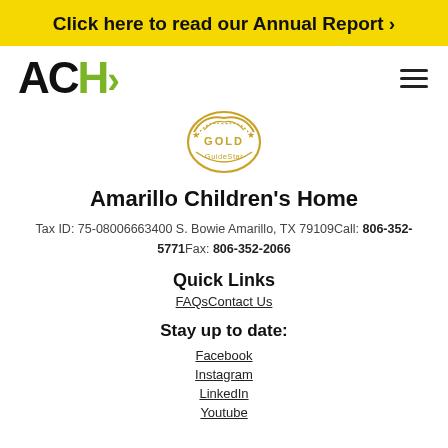Click here to read our Annual Report ›
[Figure (logo): ACH> logo with green H and arrow]
[Figure (illustration): Gold GuideStar badge icon]
Amarillo Children's Home
Tax ID: 75-08006663400 S. Bowie Amarillo, TX 79109Call: 806-352-5771Fax: 806-352-2066
Quick Links
FAQsContact Us
Stay up to date:
Facebook
Instagram
LinkedIn
Youtube